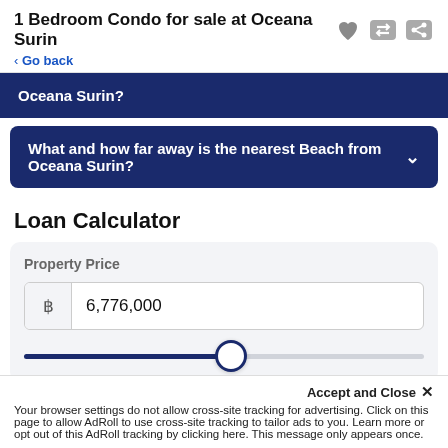1 Bedroom Condo for sale at Oceana Surin
< Go back
Oceana Surin?
What and how far away is the nearest Beach from Oceana Surin?
Loan Calculator
Property Price
฿  6,776,000
Accept and Close ×
Your browser settings do not allow cross-site tracking for advertising. Click on this page to allow AdRoll to use cross-site tracking to tailor ads to you. Learn more or opt out of this AdRoll tracking by clicking here. This message only appears once.